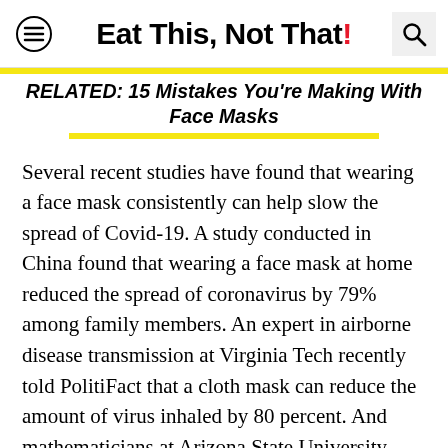Eat This, Not That!
RELATED: 15 Mistakes You're Making With Face Masks
Several recent studies have found that wearing a face mask consistently can help slow the spread of Covid-19. A study conducted in China found that wearing a face mask at home reduced the spread of coronavirus by 79% among family members. An expert in airborne disease transmission at Virginia Tech recently told PolitiFact that a cloth mask can reduce the amount of virus inhaled by 80 percent. And mathematicians at Arizona State University said wearing masks "may meaningfully reduce community transmission of Covid-19 and